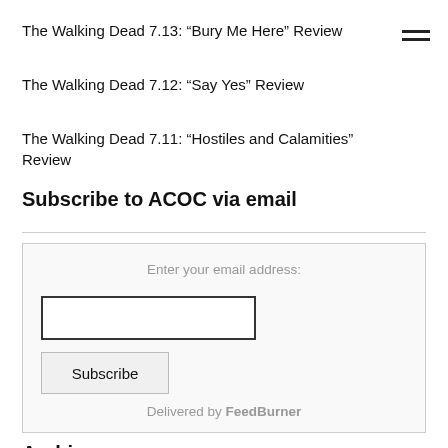The Walking Dead 7.13: “Bury Me Here” Review
The Walking Dead 7.12: “Say Yes” Review
The Walking Dead 7.11: “Hostiles and Calamities” Review
Subscribe to ACOC via email
Enter your email address:
Subscribe
Delivered by FeedBurner
Archives